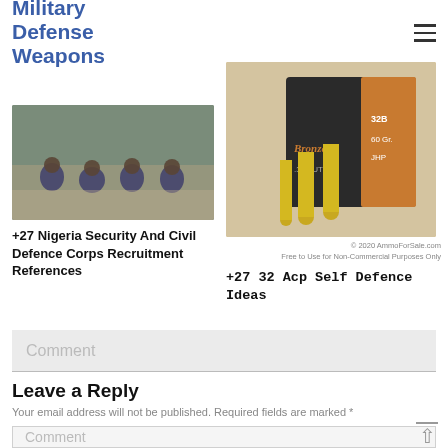Military Defense Weapons
[Figure (photo): Group of people in military/security uniforms crouching outdoors]
+27 Nigeria Security And Civil Defence Corps Recruitment References
[Figure (photo): Box of PMC Bronze 32 ACP 60 Gr JHP ammunition with bullets displayed]
© 2020 AmmoForSale.com
Free to Use for Non-Commercial Purposes Only
+27 32 Acp Self Defence Ideas
Comment
Leave a Reply
Your email address will not be published. Required fields are marked *
Comment